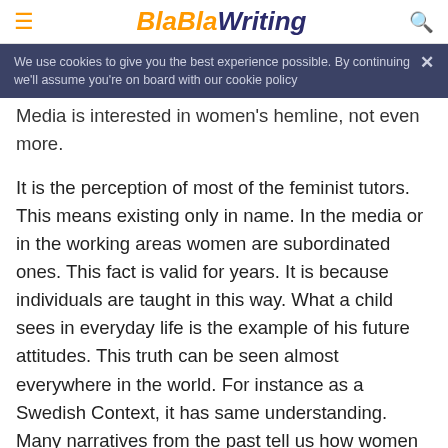BlaBlaWriting
We use cookies to give you the best experience possible. By continuing we'll assume you're on board with our cookie policy
Media is interested in women's hemline, not even more.
It is the perception of most of the feminist tutors. This means existing only in name. In the media or in the working areas women are subordinated ones. This fact is valid for years. It is because individuals are taught in this way. What a child sees in everyday life is the example of his future attitudes. This truth can be seen almost everywhere in the world. For instance as a Swedish Context, it has same understanding. Many narratives from the past tell us how women were often characterised as the saviour of the family economy.
When the boys started working, wround twelve years age,